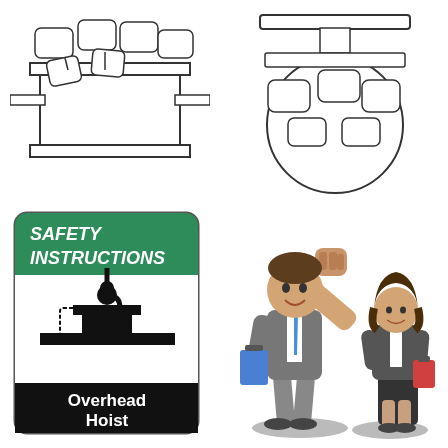[Figure (illustration): Technical line drawing of an overhead hoist trolley viewed from below/side angle, showing a rectangular beam frame with multiple rounded rectangular block shapes (rope drums or sheaves) arranged on top, viewed in perspective]
[Figure (illustration): Technical line drawing of an overhead hoist trolley viewed from directly below, showing a circular body with rectangular beam on top and two rounded rectangular block shapes on each side]
[Figure (illustration): Safety instructions sign with green header reading SAFETY INSTRUCTIONS in italic bold white text, a black and white pictogram showing an overhead hoist lifting a load on an I-beam, and black footer with white text reading Overhead Hoist]
[Figure (illustration): Cartoon illustration of two business people - a man in a grey suit scratching his head with one hand raised in a fist, holding a blue clipboard, and a woman in business attire holding a red clipboard, both standing on grey platform shadows]